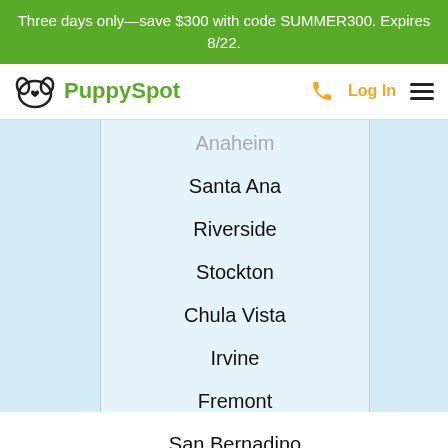Three days only—save $300 with code SUMMER300. Expires 8/22.
[Figure (logo): PuppySpot logo with dog face icon and green text]
Anaheim
Santa Ana
Riverside
Stockton
Chula Vista
Irvine
Fremont
San Bernadino